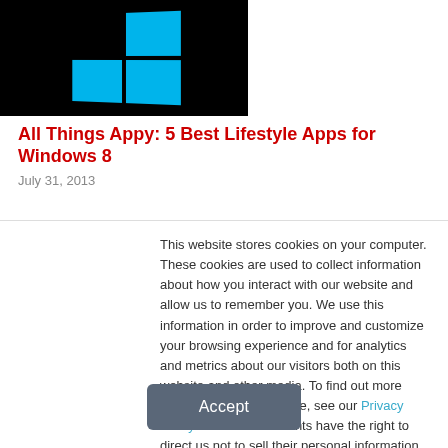[Figure (screenshot): Windows 8 logo on black background — four cyan/blue panes arranged in a grid with perspective skew]
All Things Appy: 5 Best Lifestyle Apps for Windows 8
July 31, 2013
[Figure (logo): Green arched logo shape, partially visible]
This website stores cookies on your computer. These cookies are used to collect information about how you interact with our website and allow us to remember you. We use this information in order to improve and customize your browsing experience and for analytics and metrics about our visitors both on this website and other media. To find out more about the cookies we use, see our Privacy Policy. California residents have the right to direct us not to sell their personal information to third parties by filing an Opt-Out Request: Do Not Sell My Personal Info.
Accept